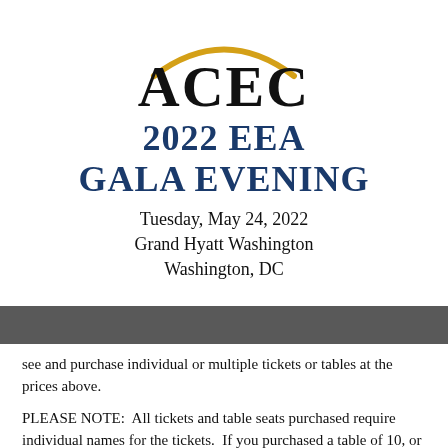[Figure (logo): ACEC logo with golden arc above large black ACEC text]
2022 EEA GALA EVENING
Tuesday, May 24, 2022
Grand Hyatt Washington
Washington, DC
see and purchase individual or multiple tickets or tables at the prices above.
PLEASE NOTE:  All tickets and table seats purchased require individual names for the tickets.  If you purchased a table of 10, or multiple tickets, please provide all attendee names attached to each ticket to Hayley Sizemore no later than Thursday,